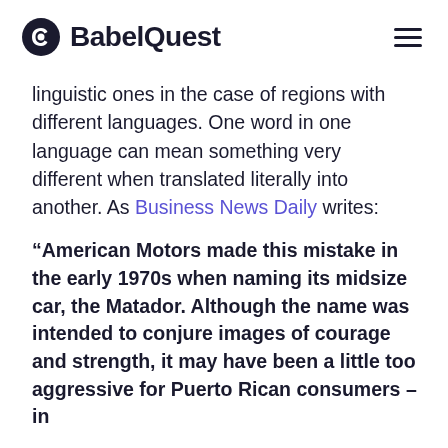BabelQuest
linguistic ones in the case of regions with different languages. One word in one language can mean something very different when translated literally into another. As Business News Daily writes:
“American Motors made this mistake in the early 1970s when naming its midsize car, the Matador. Although the name was intended to conjure images of courage and strength, it may have been a little too aggressive for Puerto Rican consumers – in